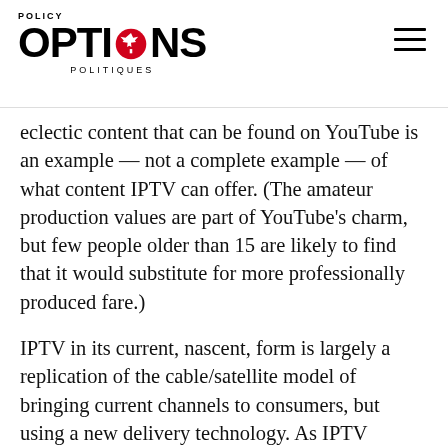POLICY OPTIONS POLITIQUES
eclectic content that can be found on YouTube is an example — not a complete example — of what content IPTV can offer. (The amateur production values are part of YouTube's charm, but few people older than 15 are likely to find that it would substitute for more professionally produced fare.)
IPTV in its current, nascent, form is largely a replication of the cable/satellite model of bringing current channels to consumers, but using a new delivery technology. As IPTV evolves, however, we see the concept of the channel becoming peripheral and the main thrust of IPTV shifting to à la carte…